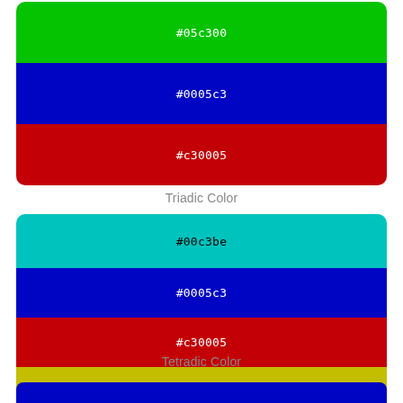[Figure (infographic): Triadic color swatch group showing three color bands: green (#05c300), blue (#0005c3), and red (#c30005), each labeled with their hex code in white monospace text.]
Triadic Color
[Figure (infographic): Tetradic color swatch group showing four color bands: cyan (#00c3be), blue (#0005c3), red (#c30005), and olive/yellow (#c3be00), each labeled with their hex code in monospace text.]
Tetradic Color